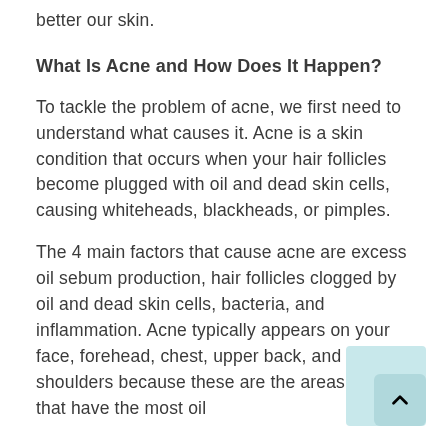better our skin.
What Is Acne and How Does It Happen?
To tackle the problem of acne, we first need to understand what causes it. Acne is a skin condition that occurs when your hair follicles become plugged with oil and dead skin cells, causing whiteheads, blackheads, or pimples.
The 4 main factors that cause acne are excess oil sebum production, hair follicles clogged by oil and dead skin cells, bacteria, and inflammation. Acne typically appears on your face, forehead, chest, upper back, and shoulders because these are the areas of skin that have the most oil